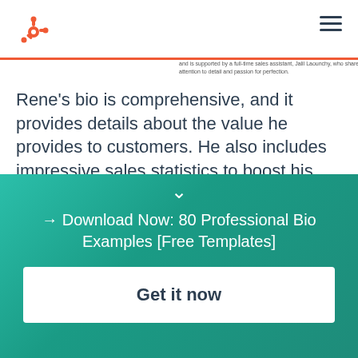HubSpot logo and navigation
and is supported by a full-time sales assistant, Jalil Laounchy, who shares Rene's attention to detail and passion for perfection.
Rene's bio is comprehensive, and it provides details about the value he provides to customers. He also includes impressive sales statistics to boost his credibility.
Favorite lines: "I'm available anytime, anywhere," he
→ Download Now: 80 Professional Bio Examples [Free Templates]
Get it now